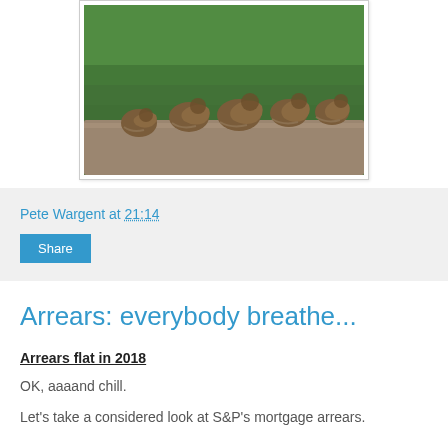[Figure (photo): A row of snails on a stone surface with green grass in the background]
Pete Wargent at 21:14
Share
Arrears: everybody breathe...
Arrears flat in 2018
OK, aaaand chill.
Let's take a considered look at S&P's mortgage arrears.